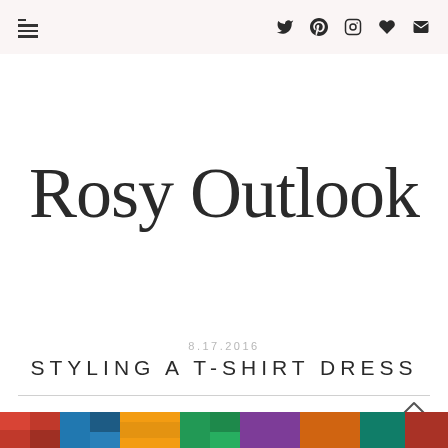Navigation and social icons header bar
Rosy Outlook
8.17.2016
STYLING A T-SHIRT DRESS
[Figure (photo): Colorful patchwork/mosaic image strip at the bottom of the page]